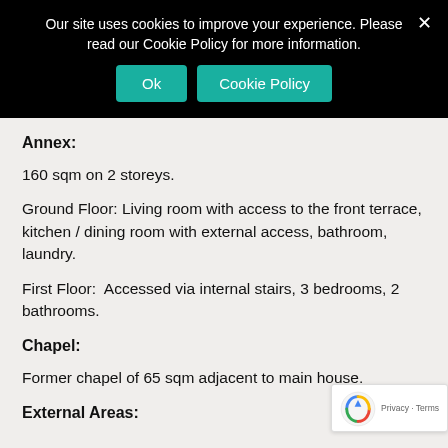Our site uses cookies to improve your experience. Please read our Cookie Policy for more information.
Ok  Cookie Policy
Annex:
160 sqm on 2 storeys.
Ground Floor: Living room with access to the front terrace, kitchen / dining room with external access, bathroom, laundry.
First Floor:  Accessed via internal stairs, 3 bedrooms, 2 bathrooms.
Chapel:
Former chapel of 65 sqm adjacent to main house.
External Areas: